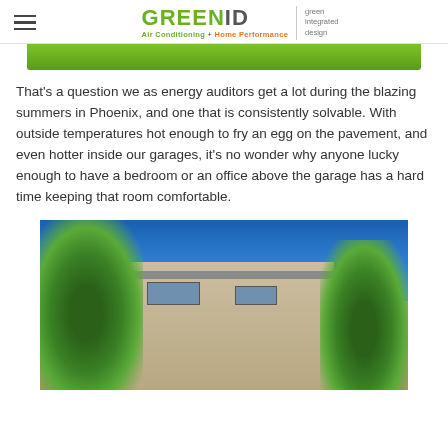GREENID | green integrated design | Air Conditioning + Home Performance
[Figure (photo): Partial banner/hero image with green strip at bottom, partially cropped]
That's a question we as energy auditors get a lot during the blazing summers in Phoenix, and one that is consistently solvable. With outside temperatures hot enough to fry an egg on the pavement, and even hotter inside our garages, it's no wonder why anyone lucky enough to have a bedroom or an office above the garage has a hard time keeping that room comfortable.
[Figure (photo): Exterior photo of a two-story stucco house with a bedroom above the garage, surrounded by mature trees, against a clear blue sky]